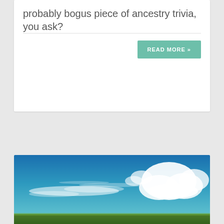probably bogus piece of ancestry trivia, you ask?
READ MORE »
[Figure (photo): Landscape photo of a blue sky with white clouds over flat terrain]
Privacy & Cookies: This site uses cookies. By continuing to use this website, you agree to their use.
To find out more, including how to control cookies, see here: Cookie Policy
Close and accept